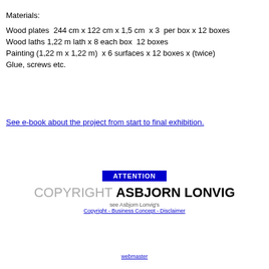Materials:
Wood plates  244 cm x 122 cm x 1,5 cm  x 3  per box x 12 boxes
Wood laths 1,22 m lath x 8 each box  12 boxes
Painting (1,22 m x 1,22 m)  x 6 surfaces x 12 boxes x (twice)
Glue, screws etc.
See e-book about the project from start to final exhibition.
ATTENTION
COPYRIGHT ASBJORN LONVIG
see Asbjorn Lonvig's
Copyright - Business Concept - Disclaimer
webmaster